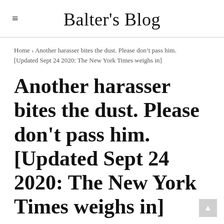Balter's Blog
Home › Another harasser bites the dust. Please don't pass him. [Updated Sept 24 2020: The New York Times weighs in]
Another harasser bites the dust. Please don't pass him. [Updated Sept 24 2020: The New York Times weighs in]
Michael Balter   9/04/2020 04:08:00 PM